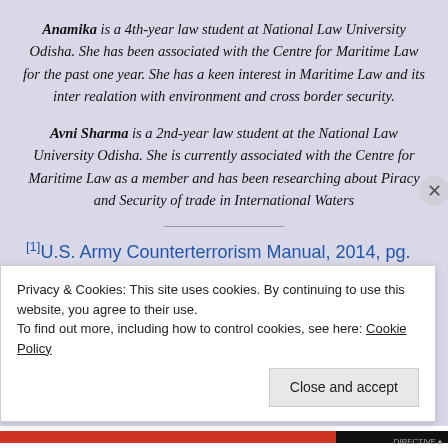Anamika is a 4th-year law student at National Law University Odisha. She has been associated with the Centre for Maritime Law for the past one year. She has a keen interest in Maritime Law and its inter realation with environment and cross border security.
Avni Sharma is a 2nd-year law student at the National Law University Odisha. She is currently associated with the Centre for Maritime Law as a member and has been researching about Piracy and Security of trade in International Waters
[1] U.S. Army Counterterrorism Manual, 2014, pg. 7.
Privacy & Cookies: This site uses cookies. By continuing to use this website, you agree to their use. To find out more, including how to control cookies, see here: Cookie Policy